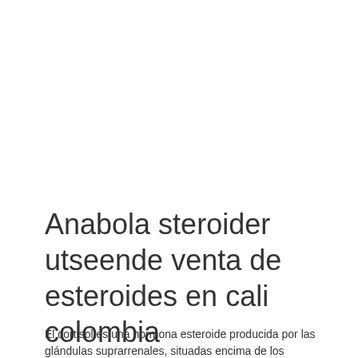Anabola steroider utseende venta de esteroides en cali colombia
El cortisol es una hormona esteroide producida por las glándulas suprarrenales, situadas encima de los